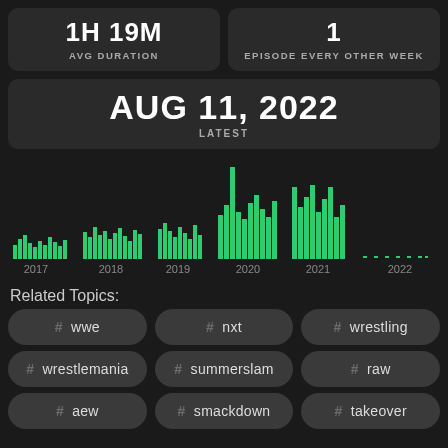1H 19M AVG DURATION
1 EPISODE EVERY OTHER WEEK
AUG 11, 2022 LATEST
[Figure (bar-chart): Episode frequency by year]
Related Topics:
# wwe
# nxt
# wrestling
# wrestlemania
# summerslam
# raw
# aew
# smackdown
# takeover